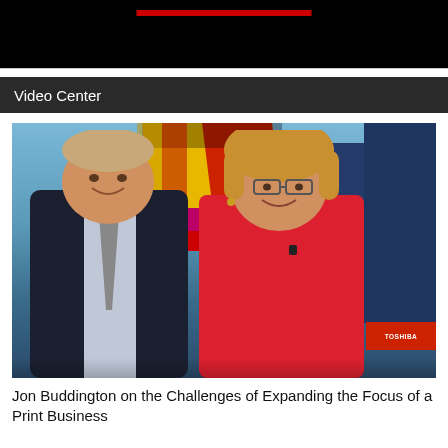[Figure (screenshot): Top black banner with a red bar element, partial website header]
Video Center
[Figure (photo): Two people standing in front of a colorful Times Square-style city backdrop. A man in a dark blazer on the left and a woman in a red sleeveless top on the right.]
Jon Buddington on the Challenges of Expanding the Focus of a Print Business